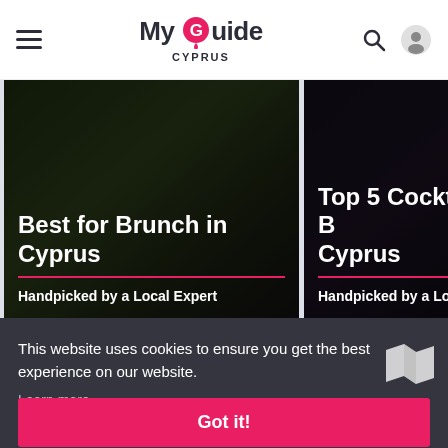My Guide CYPRUS
[Figure (screenshot): Card showing 'Best for Brunch in Cyprus - Handpicked by a Local Expert' with dark food background image]
[Figure (screenshot): Card showing 'Top 5 Cocktail B... Cyprus - Handpicked by a Local...' with dark bar background image]
This website uses cookies to ensure you get the best experience on our website.
Learn more
Got it!